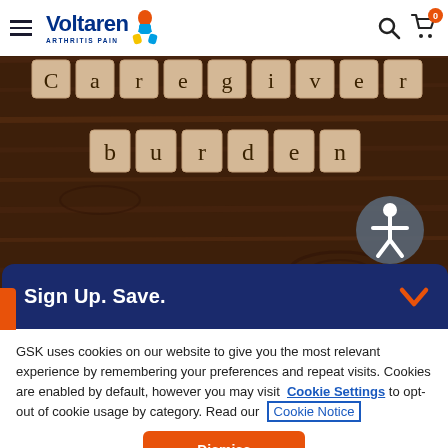Voltaren Arthritis Pain
[Figure (photo): Scrabble tile letters spelling 'Caregiver burden' on a dark wooden surface, with an accessibility icon overlay in the bottom right of the image]
Sign Up. Save.
GSK uses cookies on our website to give you the most relevant experience by remembering your preferences and repeat visits. Cookies are enabled by default, however you may visit Cookie Settings to opt-out of cookie usage by category. Read our Cookie Notice
Dismiss